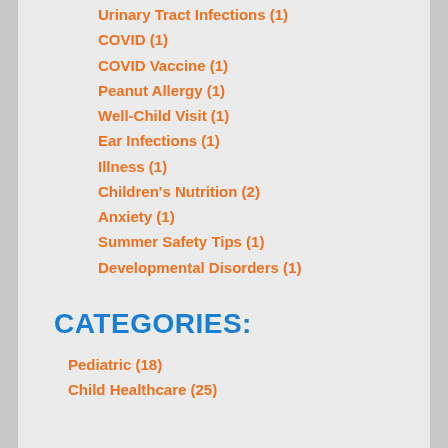Urinary Tract Infections (1)
COVID (1)
COVID Vaccine (1)
Peanut Allergy (1)
Well-Child Visit (1)
Ear Infections (1)
Illness (1)
Children's Nutrition (2)
Anxiety (1)
Summer Safety Tips (1)
Developmental Disorders (1)
Behavioral Disorders (1)
Behavioral Health (1)
Wellness Checkups (1)
School Physical (1)
CATEGORIES:
Pediatric (18)
Child Healthcare (25)